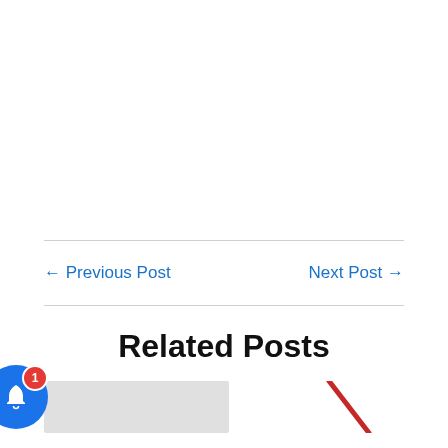← Previous Post
Next Post →
Related Posts
[Figure (other): Notification bell button (blue circle with bell icon and red badge showing '1') and partial post thumbnail images below]